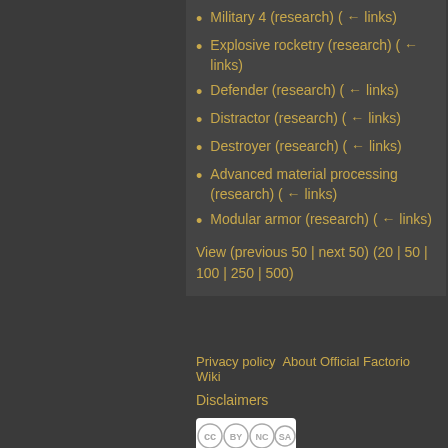Military 4 (research)  (← links)
Explosive rocketry (research)  (← links)
Defender (research)  (← links)
Distractor (research)  (← links)
Destroyer (research)  (← links)
Advanced material processing (research)  (← links)
Modular armor (research)  (← links)
View (previous 50 | next 50) (20 | 50 | 100 | 250 | 500)
Privacy policy   About Official Factorio Wiki
Disclaimers
[Figure (logo): Creative Commons BY-NC-SA license badge]
[Figure (logo): Powered by MediaWiki badge]
[Figure (logo): Semantic MediaWiki badge]